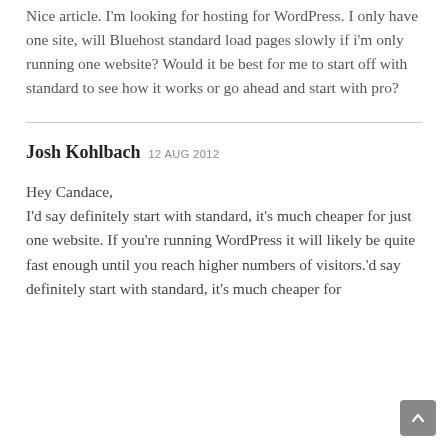Nice article. I'm looking for hosting for WordPress. I only have one site, will Bluehost standard load pages slowly if i'm only running one website? Would it be best for me to start off with standard to see how it works or go ahead and start with pro?
Josh Kohlbach 12 AUG 2012
Hey Candace,
I'd say definitely start with standard, it's much cheaper for just one website. If you're running WordPress it will likely be quite fast enough until you reach higher numbers of visitors.'d say definitely start with standard, it's much cheaper for